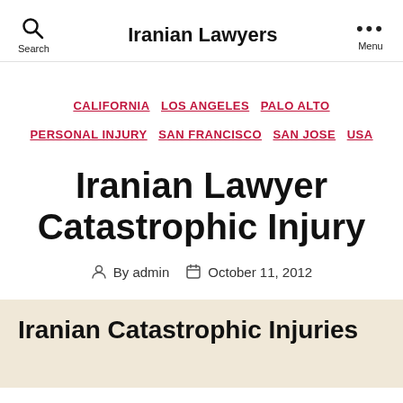Iranian Lawyers
CALIFORNIA  LOS ANGELES  PALO ALTO  PERSONAL INJURY  SAN FRANCISCO  SAN JOSE  USA
Iranian Lawyer Catastrophic Injury
By admin  October 11, 2012
Iranian Catastrophic Injuries